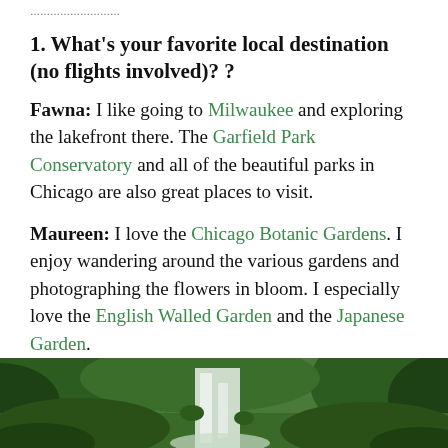...
1. What's your favorite local destination (no flights involved)? ?
Fawna: I like going to Milwaukee and exploring the lakefront there. The Garfield Park Conservatory and all of the beautiful parks in Chicago are also great places to visit.
Maureen: I love the Chicago Botanic Gardens. I enjoy wandering around the various gardens and photographing the flowers in bloom. I especially love the English Walled Garden and the Japanese Garden.
[Figure (photo): Lush green waterfall scene with tropical vegetation and a cascading white waterfall in the background]